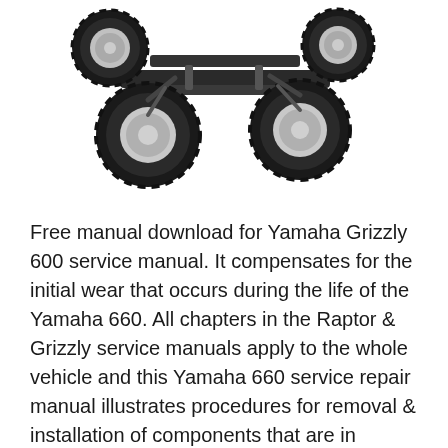[Figure (photo): Underside/chassis view of a Yamaha ATV (all-terrain vehicle) showing four large off-road tires with chrome rims, frame, and suspension components against a white background.]
Free manual download for Yamaha Grizzly 600 service manual. It compensates for the initial wear that occurs during the life of the Yamaha 660. All chapters in the Raptor & Grizzly service manuals apply to the whole vehicle and this Yamaha 660 service repair manual illustrates procedures for removal & installation of components that are in detailed step-by-step fashion., Yamaha YFM660 (YFM 660 R) Raptor Service Repair Manual MAINTENANCE / TROUBLESHOOTING /